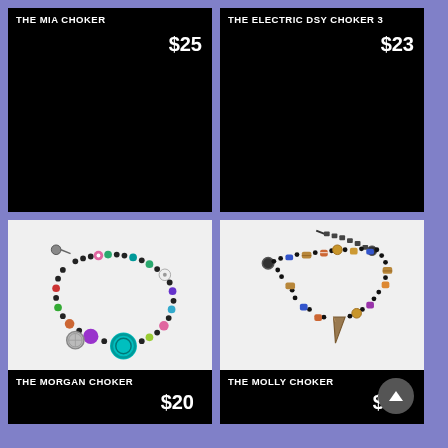THE MIA CHOKER
$25
[Figure (photo): Black background product image for The Mia Choker]
THE ELECTRIC DSY CHOKER 3
$23
[Figure (photo): Black background product image for The Electric Dsy Choker 3]
[Figure (photo): Photo of The Morgan Choker: colorful beaded bracelet/choker with large teal bead, purple bead, multicolored beads on white background]
THE MORGAN CHOKER
$20
[Figure (photo): Photo of The Molly Choker: black beaded choker with gold/brown tribal beads and shark tooth pendant on white background]
THE MOLLY CHOKER
$25